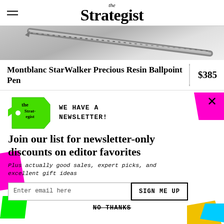the Strategist
[Figure (photo): Close-up photo of a metallic pen on a light gray background]
Montblanc StarWalker Precious Resin Ballpoint Pen
$385
[Figure (logo): The Strategist green price-tag logo with text 'the Strat-egist']
WE HAVE A NEWSLETTER!
Join our list for newsletter-only discounts on editor favorites
Plus actually good sales, expert picks, and excellent gift ideas
Enter email here
SIGN ME UP
NO THANKS